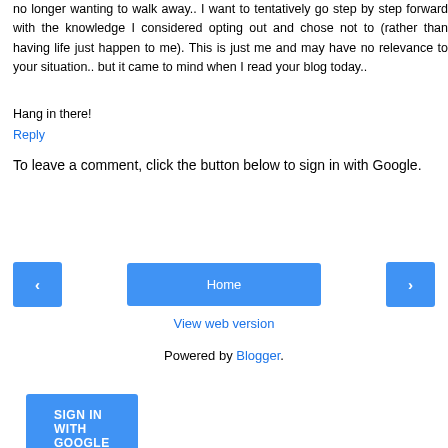no longer wanting to walk away.. I want to tentatively go step by step forward with the knowledge I considered opting out and chose not to (rather than having life just happen to me). This is just me and may have no relevance to your situation.. but it came to mind when I read your blog today..
Hang in there!
Reply
To leave a comment, click the button below to sign in with Google.
SIGN IN WITH GOOGLE
‹
Home
›
View web version
Powered by Blogger.